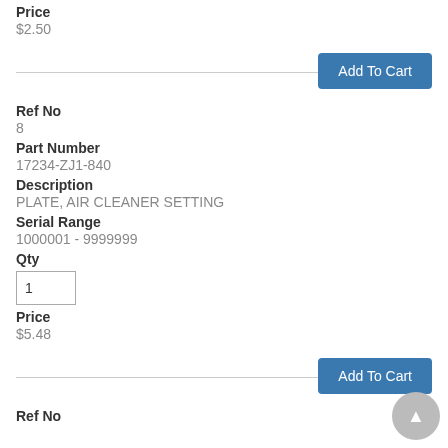Price
$2.50
Add To Cart
Ref No
8
Part Number
17234-ZJ1-840
Description
PLATE, AIR CLEANER SETTING
Serial Range
1000001 - 9999999
Qty
1
Price
$5.48
Add To Cart
Ref No